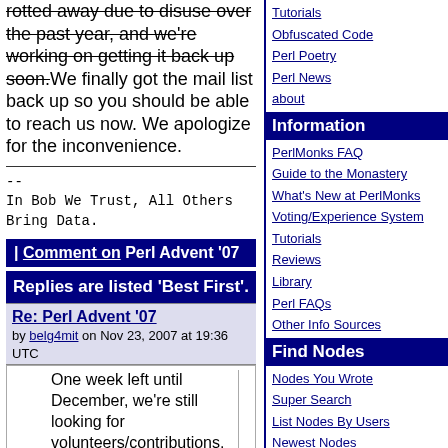rotted away due to disuse over the past year, and we're working on getting it back up soon. We finally got the mail list back up so you should be able to reach us now. We apologize for the inconvenience.
--
In Bob We Trust, All Others Bring Data.
| Comment on Perl Advent '07
Replies are listed 'Best First'.
Re: Perl Advent '07
by belg4mit on Nov 23, 2007 at 19:36 UTC
One week left until December, we're still looking for volunteers/contributions.
--
In Bob We Trust, All Others Bring Data.
[reply]
Tutorials
Obfuscated Code
Perl Poetry
Perl News
about
Information
PerlMonks FAQ
Guide to the Monastery
What's New at PerlMonks
Voting/Experience System
Tutorials
Reviews
Library
Perl FAQs
Other Info Sources
Find Nodes
Nodes You Wrote
Super Search
List Nodes By Users
Newest Nodes
Recently Active Threads
Selected Best Nodes
Best Nodes
Worst Nodes
Saints in our Book
Leftovers
The St. Larry Wall Shrine
Buy PerlMonks Gear